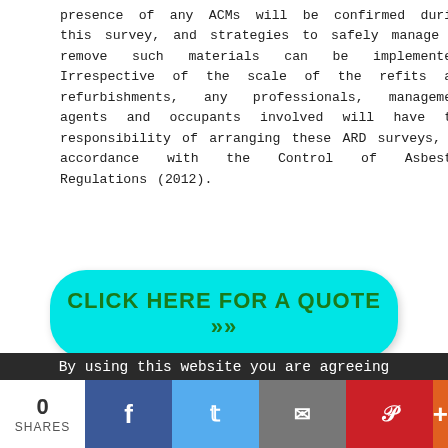presence of any ACMs will be confirmed during this survey, and strategies to safely manage or remove such materials can be implemented. Irrespective of the scale of the refits and refurbishments, any professionals, management agents and occupants involved will have the responsibility of arranging these ARD surveys, in accordance with the Control of Asbestos Regulations (2012).
[Figure (other): Green button with cyan/turquoise background reading CLICK HERE FOR A QUOTE >>]
Asbestos Removal Leicestershire
[Figure (infographic): Asbestos mind map diagram showing ASBESTOS in center with connected labels: ASBESTOSIS, RISK, SILICATE MINERAL, FIBERS, ENVIRONMENTAL DAMAGE, CONSTRUCTION INDUSTRY, DUST, FIBROUS CRYSTALS, MESOTHELIOMA]
Around
By using this website you are agreeing
0 SHARES [Facebook] [Twitter] [Email] [Pinterest] [+]